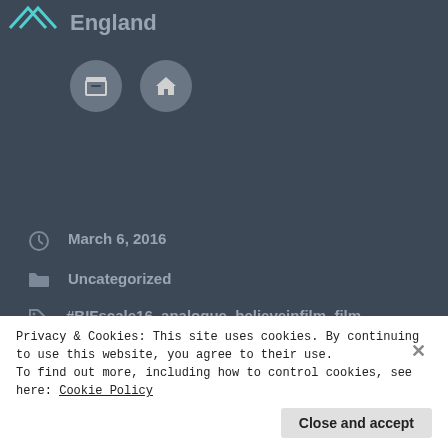England
[Figure (screenshot): Two circular icon buttons: archive/box icon and home icon, on dark background]
March 6, 2016
Uncategorized
#BIFscale16, analogue, believeinfilm, film, film photography, filmisnotdead, pentax, redscale, retro, street photogaphy
Previous post
Privacy & Cookies: This site uses cookies. By continuing to use this website, you agree to their use.
To find out more, including how to control cookies, see here: Cookie Policy
Close and accept